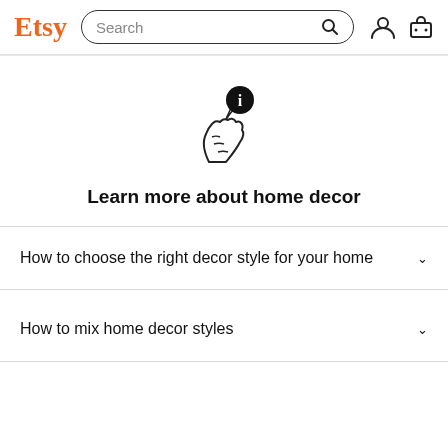Etsy — Search bar with search icon, user icon, cart icon
[Figure (illustration): Hand holding a black circle with an 'i' information icon, illustrated in line art style]
Learn more about home decor
How to choose the right decor style for your home
How to mix home decor styles